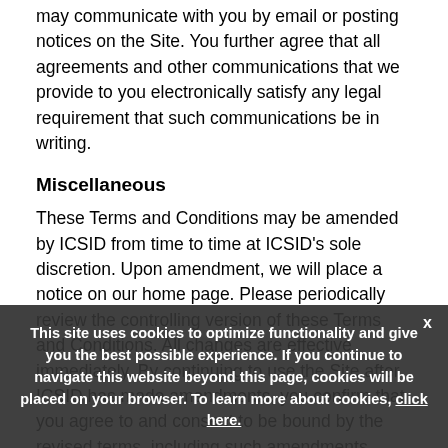may communicate with you by email or posting notices on the Site. You further agree that all agreements and other communications that we provide to you electronically satisfy any legal requirement that such communications be in writing.
Miscellaneous
These Terms and Conditions may be amended by ICSID from time to time at ICSID's sole discretion. Upon amendment, we will place a notice on our home page. Please periodically review the controlling version of these Terms and Conditions. All changes are effective immediately. By continuing to use the Site after ICSID has made amendments, you confirm that you agree to and consent to be bound by the revised terms, including such amendments.
Our failure to exercise or enforce any right or provision of these Terms and Conditions shall not constitute a
This site uses cookies to optimize functionality and give you the best possible experience. If you continue to navigate this website beyond this page, cookies will be placed on your browser. To learn more about cookies, click here.